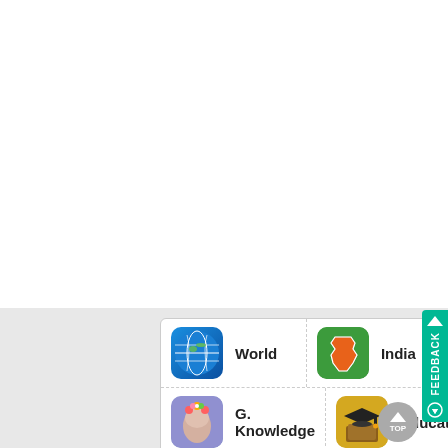[Figure (screenshot): Top white section of a webpage, mostly blank]
[Figure (infographic): Navigation grid showing four category icons: World (globe icon), India (India map icon), G. Knowledge (brain icon), Education (graduation cap icon)]